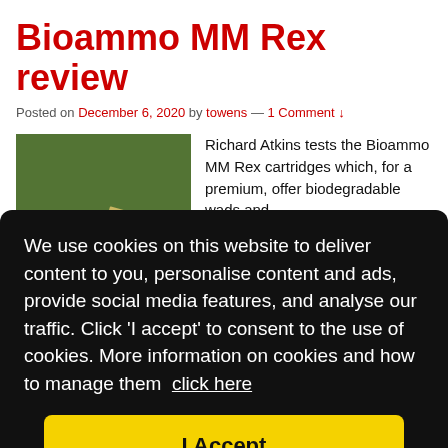Bioammo MM Rex review
Posted on December 6, 2020 by towens — 1 Comment ↓
[Figure (photo): Photo of green shotgun shells/cartridges on grass]
Richard Atkins tests the Bioammo MM Rex cartridges which, for a premium, offer biodegradable wads and
We use cookies on this website to deliver content to you, personalise content and ads, provide social media features, and analyse our traffic. Click 'I accept' to consent to the use of cookies. More information on cookies and how to manage them  click here
I Accept
DTL, eco, eco-friendly, Eley, fibre wads, plastic wad, polymer, range,